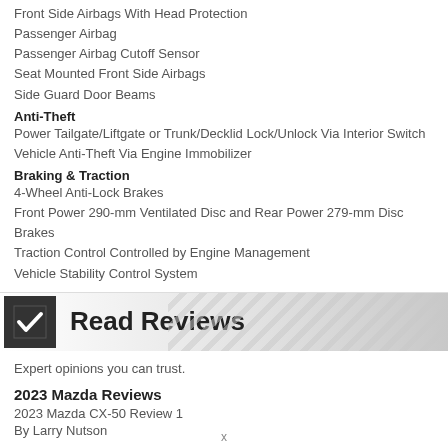Front Side Airbags With Head Protection
Passenger Airbag
Passenger Airbag Cutoff Sensor
Seat Mounted Front Side Airbags
Side Guard Door Beams
Anti-Theft
Power Tailgate/Liftgate or Trunk/Decklid Lock/Unlock Via Interior Switch
Vehicle Anti-Theft Via Engine Immobilizer
Braking & Traction
4-Wheel Anti-Lock Brakes
Front Power 290-mm Ventilated Disc and Rear Power 279-mm Disc Brakes
Traction Control Controlled by Engine Management
Vehicle Stability Control System
[Figure (other): Read Reviews banner with checkbox icon and diagonal stripe pattern]
Expert opinions you can trust.
2023 Mazda Reviews
2023 Mazda CX-50 Review 1
By Larry Nutson